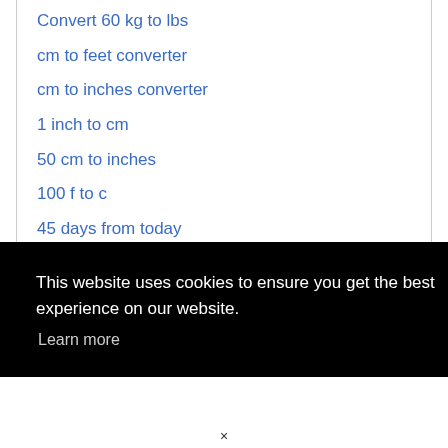Convert 60 kg to lbs
cm to feet converter
cm to inches converter
1 inch to cm
50 cm to inches
100 f to c
45 days from today
This website uses cookies to ensure you get the best experience on our website.
Learn more